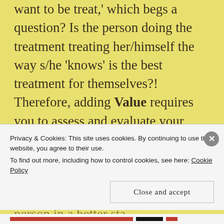want to be treat,' which begs a question? Is the person doing the treatment treating her/himself the way s/he 'knows' is the best treatment for themselves?! Therefore, adding Value requires you to assess and evaluate your purpose by looking from the outside in and arriving at your answer when you know that your objective should be to leave the person in a better state
Privacy & Cookies: This site uses cookies. By continuing to use this website, you agree to their use. To find out more, including how to control cookies, see here: Cookie Policy